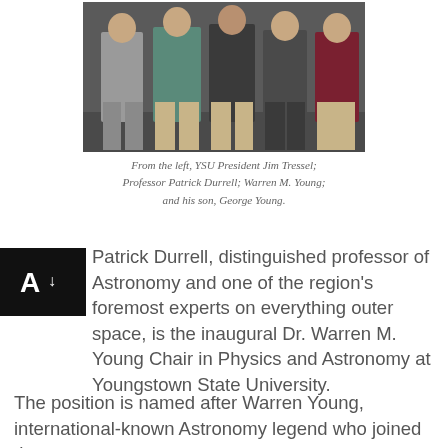[Figure (photo): Group photo of four men standing together. From left: YSU President Jim Tressel, Professor Patrick Durrell, Warren M. Young, and his son George Young.]
From the left, YSU President Jim Tressel; Professor Patrick Durrell; Warren M. Young; and his son, George Young.
Patrick Durrell, distinguished professor of Astronomy and one of the region's foremost experts on everything outer space, is the inaugural Dr. Warren M. Young Chair in Physics and Astronomy at Youngstown State University.
The position is named after Warren Young, international-known Astronomy legend who joined the